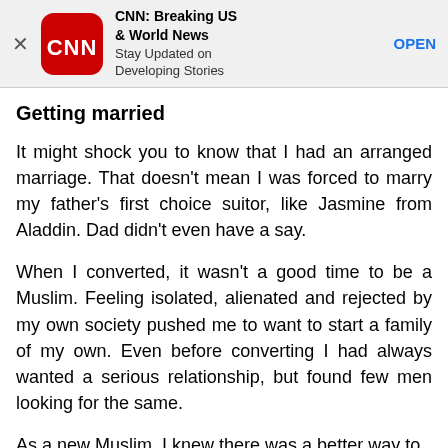[Figure (screenshot): CNN app advertisement banner with CNN logo, app name 'CNN: Breaking US & World News', tagline 'Stay Updated on Developing Stories', and an OPEN button]
Getting married
It might shock you to know that I had an arranged marriage. That doesn't mean I was forced to marry my father's first choice suitor, like Jasmine from Aladdin. Dad didn't even have a say.
When I converted, it wasn't a good time to be a Muslim. Feeling isolated, alienated and rejected by my own society pushed me to want to start a family of my own. Even before converting I had always wanted a serious relationship, but found few men looking for the same.
As a new Muslim, I knew there was a better way to